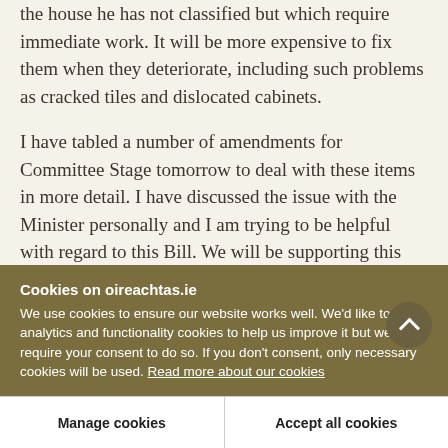the house he has not classified but which require immediate work. It will be more expensive to fix them when they deteriorate, including such problems as cracked tiles and dislocated cabinets.
I have tabled a number of amendments for Committee Stage tomorrow to deal with these items in more detail. I have discussed the issue with the Minister personally and I am trying to be helpful with regard to this Bill. We will be supporting this legislation. Tomorrow, however, I wish to discuss
Cookies on oireachtas.ie
We use cookies to ensure our website works well. We'd like to use analytics and functionality cookies to help us improve it but we require your consent to do so. If you don't consent, only necessary cookies will be used. Read more about our cookies
Manage cookies
Accept all cookies